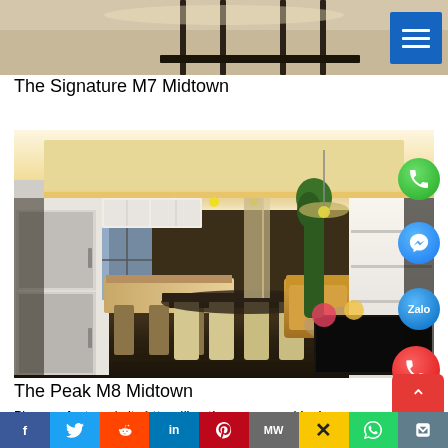[Figure (photo): Top portion of an interior room photo, partially cropped, showing ceiling with chairs and lights]
The Signature M7 Midtown
[Figure (photo): Interior photo of a modern luxury apartment living and dining area with warm lighting, kitchen counter, dining table with chairs, sofa, and built-in cabinets. Social media floating action buttons visible on right side.]
The Peak M8 Midtown
Please refer to website:https://besthousevn.com/danh-muc-property/midtown-the-signature/
For all your home buying advice, please contact us for
f  Twitter  Reddit  in  Pinterest  MW  ✕  WhatsApp  Share